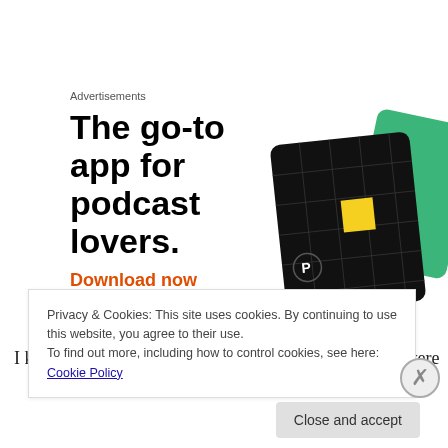Advertisements
[Figure (illustration): Podcast app advertisement showing bold text 'The go-to app for podcast lovers.' with a red 'Download now' CTA and illustrated app cards (black grid card with yellow square and green card)]
I know that someday all those things we did when we were
Privacy & Cookies: This site uses cookies. By continuing to use this website, you agree to their use.
To find out more, including how to control cookies, see here: Cookie Policy
Close and accept